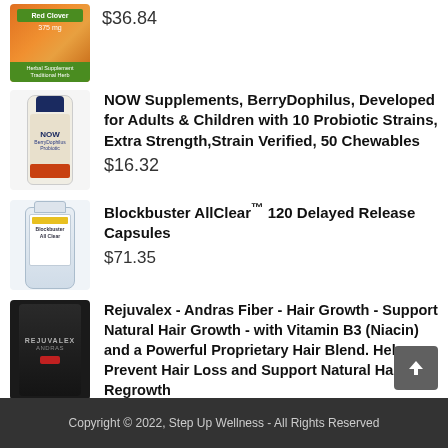[Figure (photo): Red Clover 375mg herbal supplement product image, orange background with green label]
$36.84
[Figure (photo): NOW Supplements BerryDophilus white bottle with blue cap]
NOW Supplements, BerryDophilus, Developed for Adults & Children with 10 Probiotic Strains, Extra Strength,Strain Verified, 50 Chewables
$16.32
[Figure (photo): Blockbuster AllClear supplement bottle, white and blue]
Blockbuster AllClear™ 120 Delayed Release Capsules
$71.35
[Figure (photo): Rejuvalex Andras Fiber dark container with red accent]
Rejuvalex - Andras Fiber - Hair Growth - Support Natural Hair Growth - with Vitamin B3 (Niacin) and a Powerful Proprietary Hair Blend. Help Prevent Hair Loss and Support Natural Hair Regrowth
$36.26
Copyright © 2022, Step Up Wellness - All Rights Reserved